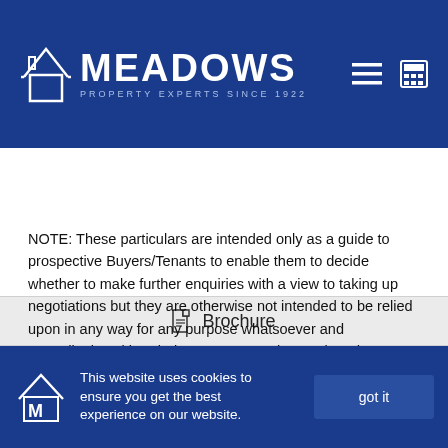[Figure (logo): Meadows Property Experts Since 1922 logo with house icon on blue background, with hamburger menu and calculator icons on right]
Brochure
NOTE: These particulars are intended only as a guide to prospective Buyers/Tenants to enable them to decide whether to make further enquiries with a view to taking up negotiations but they are otherwise not intended to be relied upon in any way for any purpose whatsoever and accordingly neither their accuracy nor the continued availability of the property is in any way guaranteed and they are furnished on the express understanding that neither the Agents nor the Vendors are to
This website uses cookies to ensure you get the best experience on our website.